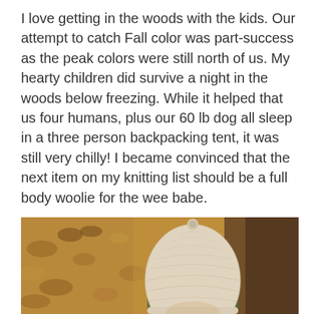I love getting in the woods with the kids. Our attempt to catch Fall color was part-success as the peak colors were still north of us. My hearty children did survive a night in the woods below freezing. While it helped that us four humans, plus our 60 lb dog all sleep in a three person backpacking tent, it was still very chilly! I became convinced that the next item on my knitting list should be a full body woolie for the wee babe.
[Figure (photo): Photo of a young child wearing a cream/white knit hat, partially visible from the top of the frame, surrounded by autumn leaves on the ground. Dark background element visible on the right side.]